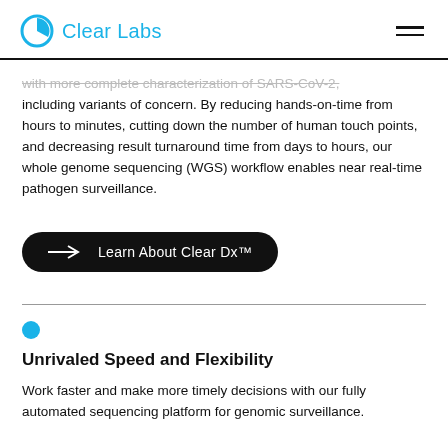Clear Labs
with more complete characterization of SARS-CoV-2, including variants of concern. By reducing hands-on-time from hours to minutes, cutting down the number of human touch points, and decreasing result turnaround time from days to hours, our whole genome sequencing (WGS) workflow enables near real-time pathogen surveillance.
Learn About Clear Dx™
Unrivaled Speed and Flexibility
Work faster and make more timely decisions with our fully automated sequencing platform for genomic surveillance.